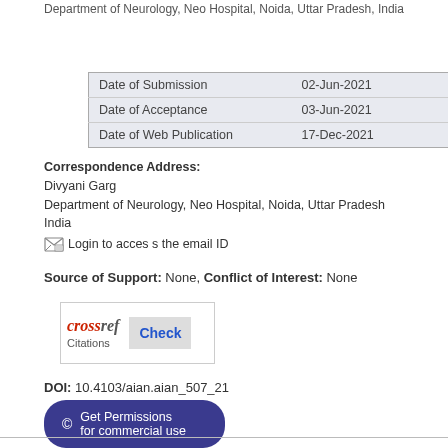Department of Neurology, Neo Hospital, Noida, Uttar Pradesh, India
|  |  |
| --- | --- |
| Date of Submission | 02-Jun-2021 |
| Date of Acceptance | 03-Jun-2021 |
| Date of Web Publication | 17-Dec-2021 |
Correspondence Address:
Divyani Garg
Department of Neurology, Neo Hospital, Noida, Uttar Pradesh
India
[icon] Login to access the email ID
Source of Support: None, Conflict of Interest: None
[Figure (logo): CrossRef Check Citations logo button]
DOI: 10.4103/aian.aian_507_21
© Get Permissions for commercial use